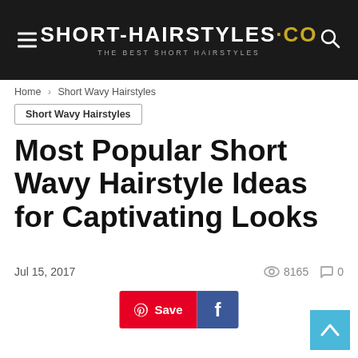SHORT-HAIRSTYLES.CO — THE BEST SHORT HAIRSTYLES
Home › Short Wavy Hairstyles
Short Wavy Hairstyles
Most Popular Short Wavy Hairstyle Ideas for Captivating Looks
Jul 15, 2017  👁 8165  💬 0
[Figure (screenshot): Pinterest Save button and Facebook share button]
[Figure (other): Back to top arrow button in light blue]